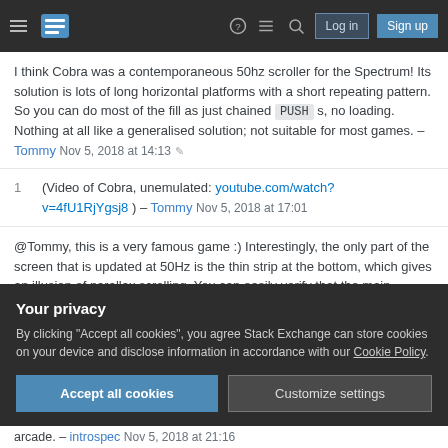Stack Exchange navigation bar with hamburger menu, logo, help, chat, search, Log in, Sign up buttons
I think Cobra was a contemporaneous 50hz scroller for the Spectrum! Its solution is lots of long horizontal platforms with a short repeating pattern. So you can do most of the fill as just chained PUSH s, no loading. Nothing at all like a generalised solution; not suitable for most games. – Tommy Nov 5, 2018 at 14:13
1 (Video of Cobra, unemulated: youtube.com/watch?v=4fU1RjYgsj8 ) – Tommy Nov 5, 2018 at 17:01
@Tommy, this is a very famous game :) Interestingly, the only part of the screen that is updated at 50Hz is the thin strip at the bottom, which gives an illusion of parallax scrolling. You can easily verify that the main arcade. – introspec Nov 5, 2018 at 21:16
Your privacy
By clicking "Accept all cookies", you agree Stack Exchange can store cookies on your device and disclose information in accordance with our Cookie Policy.
Accept all cookies   Customize settings